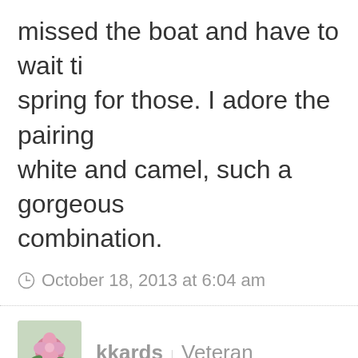missed the boat and have to wait till spring for those. I adore the pairing white and camel, such a gorgeous combination.
October 18, 2013 at 6:04 am
[Figure (photo): Pink rose avatar for user kkards]
kkards | Veteran
i'd love to wear something like this to work, but we have a no jeans policy anyone know if a similar white p...